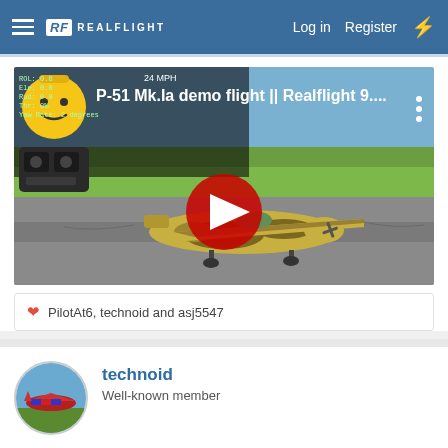RF REALFLIGHT — Log in | Register
[Figure (screenshot): YouTube video thumbnail showing P-51 Mk.Ia demo flight in Realflight 9, with a camouflage RC plane on a runway, a red YouTube play button in the center, and a LEGO minifigure avatar in the top left corner. Title reads: P-51 Mk.Ia demo flight || Realflight 9....]
❤ PilotAt6, technoid and asj5547
technoid
Well-known member